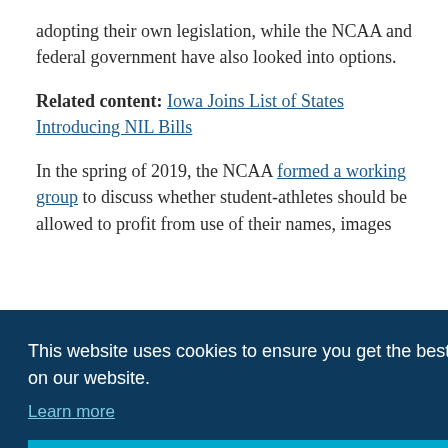adopting their own legislation, while the NCAA and federal government have also looked into options.
Related content: Iowa Joins List of States Introducing NIL Bills
In the spring of 2019, the NCAA formed a working group to discuss whether student-athletes should be allowed to profit from use of their names, images and likenesses. In October 2019, the NCAA Board of Governors approved a framework and directed each of its three divisions to develop legislation that would allow student-athletes to receive compensation and benefit from endorsement and
opportunities, such as social media, businesses they